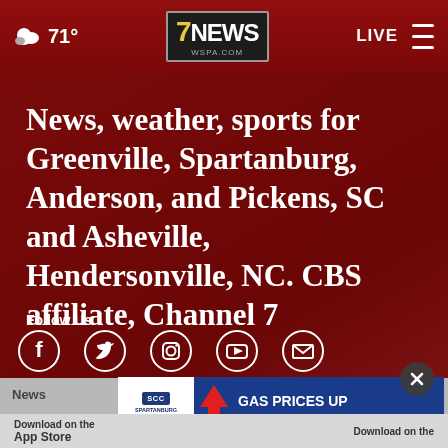☁ 71° | 7NEWS WSPA.COM | LIVE
News, weather, sports for Greenville, Spartanburg, Anderson, and Pickens, SC and Asheville, Hendersonville, NC. CBS affiliate, Channel 7
Follow Us
[Figure (infographic): Social media icons row: Facebook, Twitter, Instagram, YouTube, Email]
[Figure (infographic): Advertisement banner: SCC Spartanburg Community College - GAS PRICES UP FOOD PRICES UP with red arrow]
News
Download on the App Store | Download on the